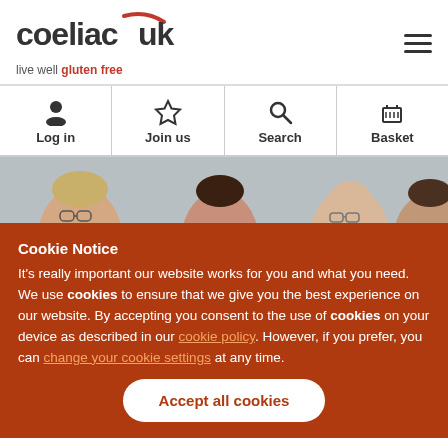[Figure (logo): Coeliac UK logo with red arc over 'uk', tagline 'live well gluten free']
[Figure (infographic): Navigation bar with Log in, Join us, Search, Basket icons]
[Figure (photo): Photo strip showing several people's heads peeking up]
Cookie Notice
It's really important our website works for you and what you need. We use cookies to ensure that we give you the best experience on our website. By accepting you consent to the use of cookies on your device as described in our cookie policy. However, if you prefer, you can change your cookie settings at any time.
Accept all cookies